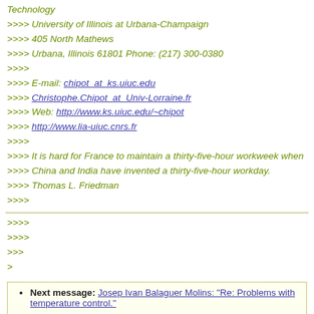Technology
>>>> University of Illinois at Urbana-Champaign
>>>> 405 North Mathews
>>>> Urbana, Illinois 61801 Phone: (217) 300-0380
>>>>
>>>> E-mail: chipot_at_ks.uiuc.edu
>>>> Christophe.Chipot_at_Univ-Lorraine.fr
>>>> Web: http://www.ks.uiuc.edu/~chipot
>>>> http://www.lia-uiuc.cnrs.fr
>>>>
>>>> It is hard for France to maintain a thirty-five-hour workweek when
>>>> China and India have invented a thirty-five-hour workday.
>>>> Thomas L. Friedman
>>>>
>>>>
>>>>
>>>
>
Next message: Josep Ivan Balaguer Molins: "Re: Problems with temperature control."
Previous message: Gerard Rowe: "SegFault in QM/MM run"